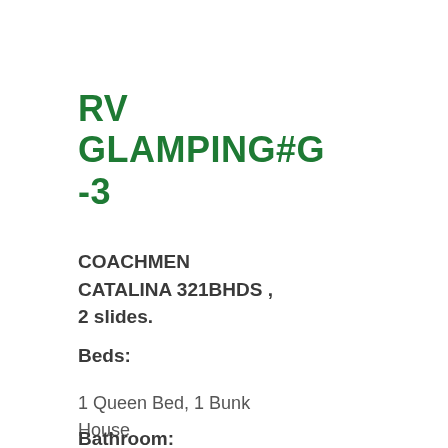RV GLAMPING#G-3
COACHMEN CATALINA 321BHDS , 2 slides.
Beds:
1 Queen Bed, 1 Bunk House
Bathroom: